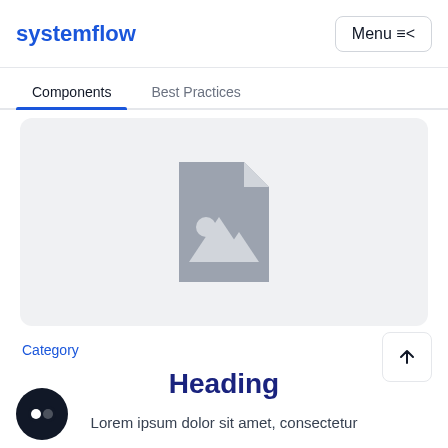systemflow   Menu
Components   Best Practices
[Figure (illustration): Image placeholder icon showing a document with a mountain/image icon on a light gray background]
Category
Heading
Lorem ipsum dolor sit amet, consectetur